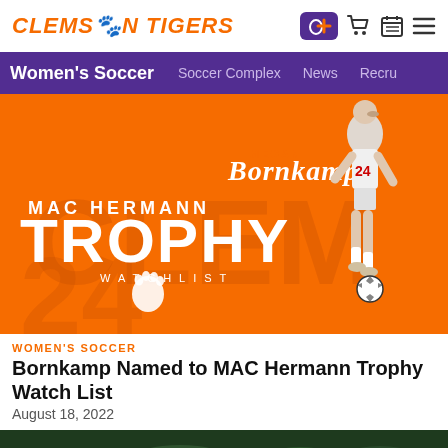CLEMSON TIGERS
Women's Soccer  Soccer Complex  News  Recru
[Figure (photo): Orange promotional graphic for MAC Hermann Trophy Watchlist featuring player Megan Bornkamp (#24) in a Clemson soccer uniform dribbling a ball, with Clemson paw logo on orange background]
WOMEN'S SOCCER
Bornkamp Named to MAC Hermann Trophy Watch List
August 18, 2022
[Figure (photo): Second article image partially visible — dark green forest/trees aerial view]